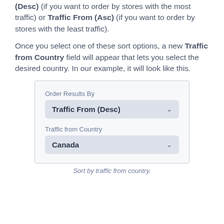(Desc) (if you want to order by stores with the most traffic) or Traffic From (Asc) (if you want to order by stores with the least traffic).
Once you select one of these sort options, a new Traffic from Country field will appear that lets you select the desired country. In our example, it will look like this.
[Figure (screenshot): UI screenshot showing 'Order Results By' dropdown set to 'Traffic From (Desc)' and 'Traffic from Country' dropdown set to 'Canada']
Sort by traffic from country.